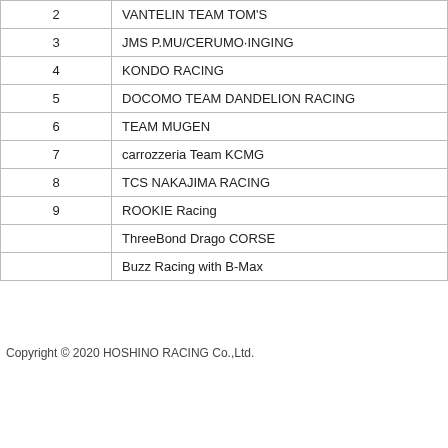|  |  |
| --- | --- |
| 2 | VANTELIN TEAM TOM'S |
| 3 | JMS P.MU/CERUMO·INGING |
| 4 | KONDO RACING |
| 5 | DOCOMO TEAM DANDELION RACING |
| 6 | TEAM MUGEN |
| 7 | carrozzeria Team KCMG |
| 8 | TCS NAKAJIMA RACING |
| 9 | ROOKIE Racing |
|  | ThreeBond Drago CORSE |
|  | Buzz Racing with B-Max |
Copyright © 2020 HOSHINO RACING Co.,Ltd.